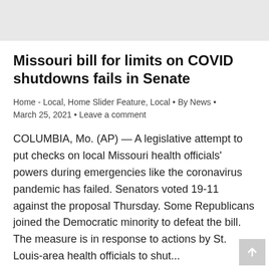Missouri bill for limits on COVID shutdowns fails in Senate
Home - Local, Home Slider Feature, Local • By News • March 25, 2021 • Leave a comment
COLUMBIA, Mo. (AP) — A legislative attempt to put checks on local Missouri health officials' powers during emergencies like the coronavirus pandemic has failed. Senators voted 19-11 against the proposal Thursday. Some Republicans joined the Democratic minority to defeat the bill. The measure is in response to actions by St. Louis-area health officials to shut...